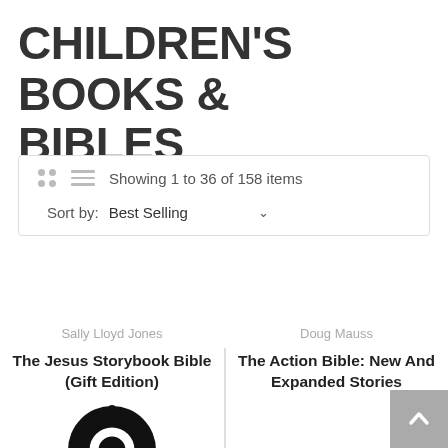CHILDREN'S BOOKS & BIBLES
Showing 1 to 36 of 158 items
Sort by: Best Selling
Sally Lloyd Jones
The Jesus Storybook Bible (Gift Edition)
Doug Mauss
The Action Bible: New And Expanded Stories